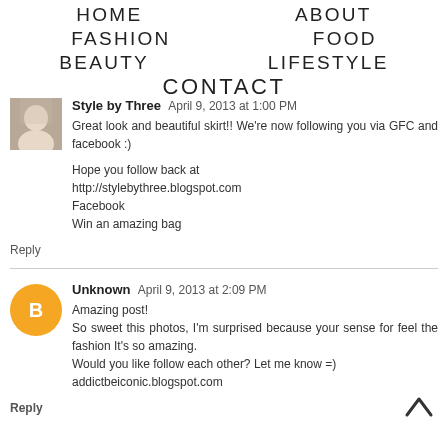HOME   ABOUT   FASHION   FOOD   BEAUTY   LIFESTYLE   CONTACT
Style by Three   April 9, 2013 at 1:00 PM
Great look and beautiful skirt!! We're now following you via GFC and facebook :)

Hope you follow back at
http://stylebythree.blogspot.com
Facebook
Win an amazing bag
Reply
Unknown   April 9, 2013 at 2:09 PM
Amazing post!
So sweet this photos, I'm surprised because your sense for feel the fashion It's so amazing.
Would you like follow each other? Let me know =)
addictbeiconic.blogspot.com
Reply